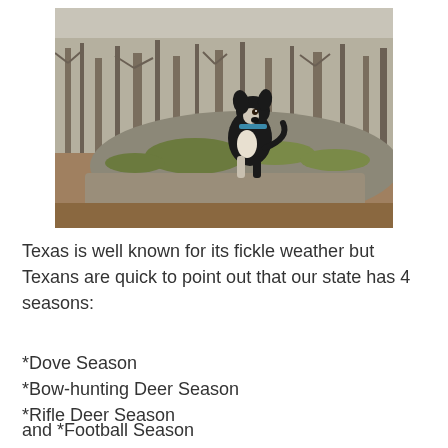[Figure (photo): A black and white dog sitting on top of a large moss-covered rock in a winter forest with bare trees in the background.]
Texas is well known for its fickle weather but Texans are quick to point out that our state has 4 seasons:
*Dove Season
*Bow-hunting Deer Season
*Rifle Deer Season
and *Football Season